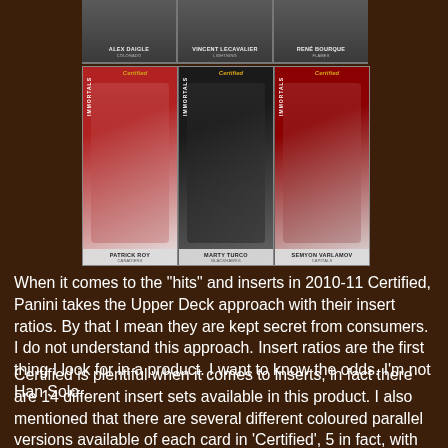[Figure (photo): Top row of three hockey trading cards: Alex Daigle (Colorado), Vincent Lecavalier (Lightning), René Bourque (Flames)]
[Figure (photo): Three Panini Certified Immortals hockey cards featuring Patrick Roy (Canadiens), Marty Turco (Blackhawks), Semyon Varlamov (Capitals)]
When it comes to the "hits" and inserts in 2010-11 Certified, Panini takes the Upper Deck approach with their insert ratios. By that I mean they are kept secret from consumers. I do not understand this approach. Insert ratios are the first thing I look for in a product. I want to know the odds. I'm not Han Solo.
Certified is plentiful when it comes to inserts, in fact there are 14 different insert sets available in this product. I also mentioned that there are several different coloured parallel versions available of each card in 'Certified', 5 in fact, with each colour being serial numbered to increasing scarcity all